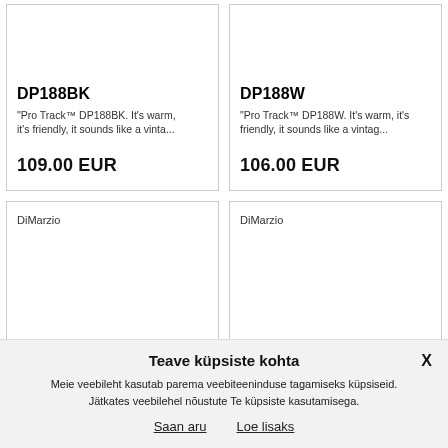DP188BK
"Pro Track™ DP188BK. It's warm, it's friendly, it sounds like a vinta...
109.00 EUR
DP188W
"Pro Track™ DP188W. It's warm, it's friendly, it sounds like a vintag...
106.00 EUR
DiMarzio
DiMarzio
Teave küpsiste kohta
Meie veebileht kasutab parema veebiteeninduse tagamiseks küpsiseid. Jätkates veebilehel nõustute Te küpsiste kasutamisega.
Saan aru
Loe lisaks